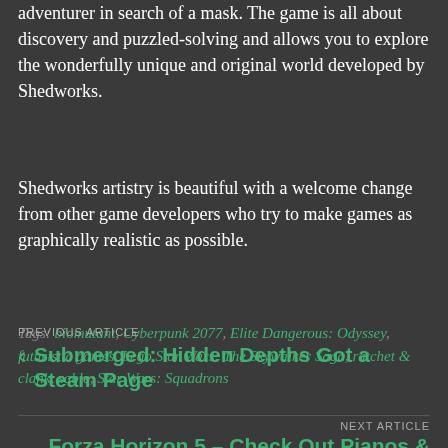adventurer in search of a mask. The game is all about discovery and puzzled-solving and allows you to explore the wonderfully unique and original world developed by Shedworks.
Shedworks artistry is beautiful with a welcome change from other game developers who try to make games as graphically realistic as possible.
Tags: biomutant, Cyberpunk 2077, Elite Dangerous: Odyssey, futuristic games, Lego Star Wars: The Skywalker Saga, ratchet & clank, sable, Star Wars: Squadrons
PREVIOUS ARTICLE
Submerged: Hidden Depths Got a Steam Page
NEXT ARTICLE
Forza Horizon 5 – Check Out Pianos &